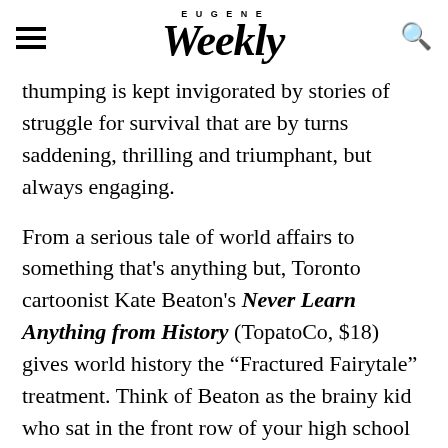EUGENE Weekly
thumping is kept invigorated by stories of struggle for survival that are by turns saddening, thrilling and triumphant, but always engaging.
From a serious tale of world affairs to something that's anything but, Toronto cartoonist Kate Beaton's Never Learn Anything from History (TopatoCo, $18) gives world history the "Fractured Fairytale" treatment. Think of Beaton as the brainy kid who sat in the front row of your high school history class, who also happens to be wicked funny. Beaton finds dry-witted humor and more than a little cuteness in